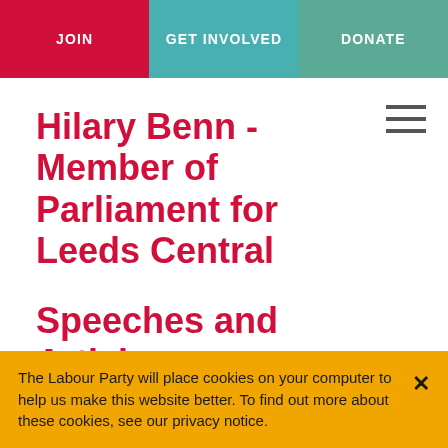JOIN | GET INVOLVED | DONATE
Hilary Benn - Member of Parliament for Leeds Central
Speeches and Articles
Hilary's Article for South Leeds Life – January
The Labour Party will place cookies on your computer to help us make this website better. To find out more about these cookies, see our privacy notice.